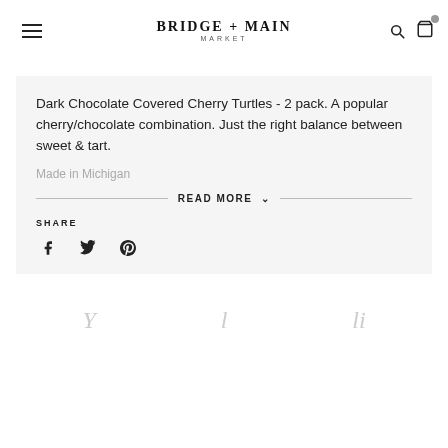BRIDGE + MAIN MARKET
Dark Chocolate Covered Cherry Turtles - 2 pack. A popular cherry/chocolate combination. Just the right balance between sweet & tart.
Made in Michigan
READ MORE
SHARE